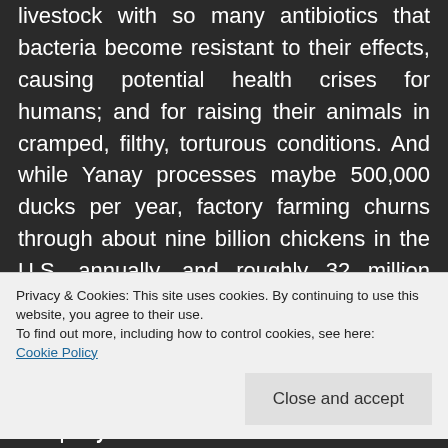livestock with so many antibiotics that bacteria become resistant to their effects, causing potential health crises for humans; and for raising their animals in cramped, filthy, torturous conditions. And while Yanay processes maybe 500,000 ducks per year, factory farming churns through about nine billion chickens in the U.S. annually, and roughly 32 million cows.
Those are the horrific processes that Daguin has dedicated her life and her company to
Privacy & Cookies: This site uses cookies. By continuing to use this website, you agree to their use.
To find out more, including how to control cookies, see here:
Cookie Policy
Close and accept
company in the cross-hairs of the animal